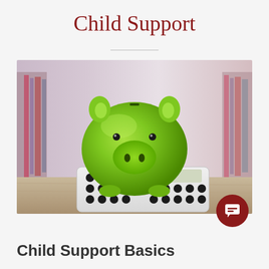Child Support
[Figure (photo): A green ceramic piggy bank sitting on top of a white calculator, placed on a wooden surface with a blurred bookshelf background]
Child Support Basics